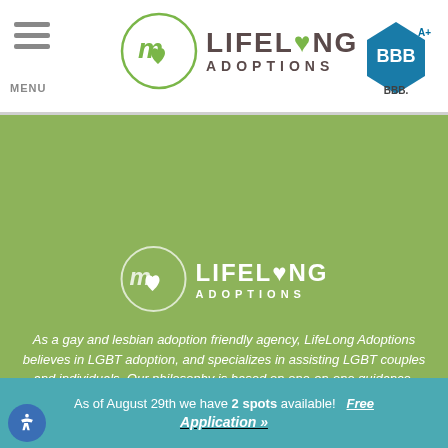[Figure (logo): Lifelong Adoptions logo with circle and heart icon, header menu bars and BBB A+ logo]
[Figure (logo): Lifelong Adoptions white logo on green background]
As a gay and lesbian adoption friendly agency, LifeLong Adoptions believes in LGBT adoption, and specializes in assisting LGBT couples and individuals. Our philosophy is based on one-on-one guidance, providing adoptive parents with an adoption specialist to guide you through the process.
[Figure (infographic): Social media icons: Facebook, Twitter, Pinterest, Instagram, TikTok]
As of August 29th we have 2 spots available!   Free Application »